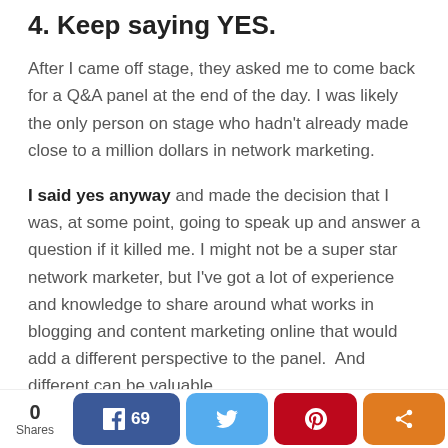4. Keep saying YES.
After I came off stage, they asked me to come back for a Q&A panel at the end of the day. I was likely the only person on stage who hadn't already made close to a million dollars in network marketing.
I said yes anyway and made the decision that I was, at some point, going to speak up and answer a question if it killed me. I might not be a super star network marketer, but I've got a lot of experience and knowledge to share around what works in blogging and content marketing online that would add a different perspective to the panel.  And different can be valuable.
0 Shares  Facebook 69  Twitter  Pinterest  Share